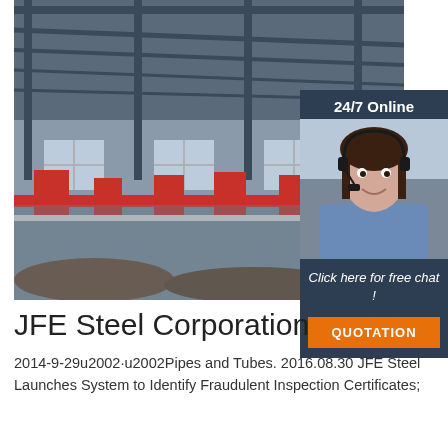[Figure (photo): Interior of a large steel manufacturing factory with machinery, red equipment, conveyor systems, and large steel pipes/tubes on the floor. High ceilinged industrial building with windows.]
[Figure (infographic): Online customer service overlay: dark navy background with '24/7 Online' header, photo of smiling woman with headset, italic text 'Click here for free chat!', and orange 'QUOTATION' button.]
JFE Steel Corporation
2014-9-29u2002·u2002Pipes and Tubes. 2016.08.30 JFE Steel Launches System to Identify Fraudulent Inspection Certificates; 2016.04.14 JFE Steel Announces Hel...